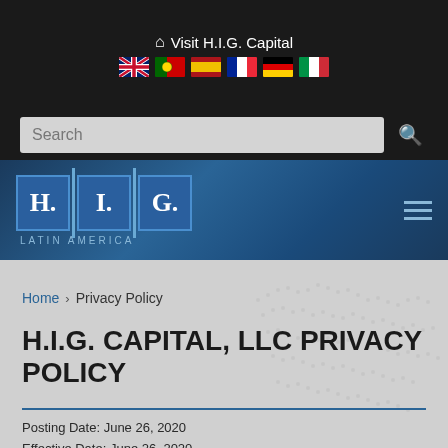Visit H.I.G. Capital
[Figure (screenshot): Navigation bar with H.I.G. Latin America logo and hamburger menu on dark blue gradient background]
Home › Privacy Policy
H.I.G. CAPITAL, LLC PRIVACY POLICY
Posting Date: June 26, 2020
Effective Date: June 26, 2020